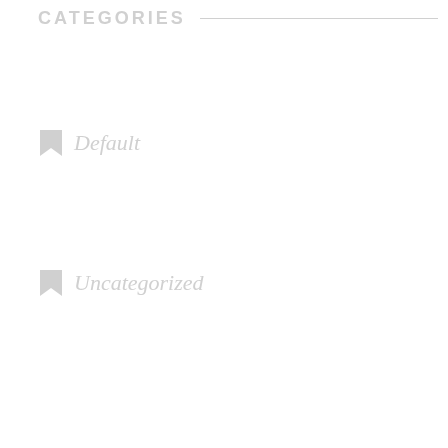CATEGORIES
Default
Uncategorized